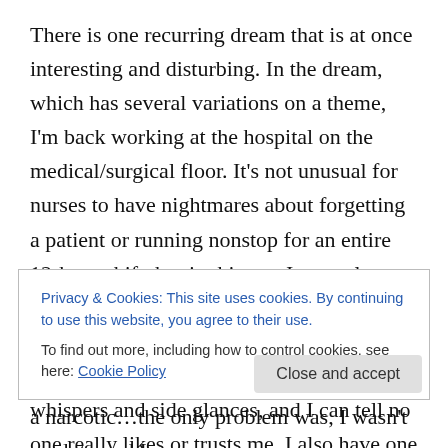There is one recurring dream that is at once interesting and disturbing. In the dream, which has several variations on a theme, I'm back working at the hospital on the medical/surgical floor. It's not unusual for nurses to have nightmares about forgetting a patient or running nonstop for an entire 12-hour shift, but in this one I not only have both situations but I'm dealing with an undercurrent of weirdness among my managers and co-workers. There are whispers and side glances, and I can tell no one really likes or trusts me. I also have one boss who is literally out to get me, and that's based in reality – when I was working
Privacy & Cookies: This site uses cookies. By continuing to use this website, you agree to their use. To find out more, including how to control cookies, see here: Cookie Policy
a narcotic…the only problem was, I wasn't on duty and I